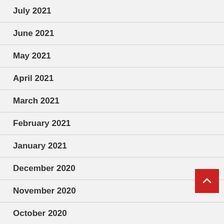July 2021
June 2021
May 2021
April 2021
March 2021
February 2021
January 2021
December 2020
November 2020
October 2020
September 2020
August 2020